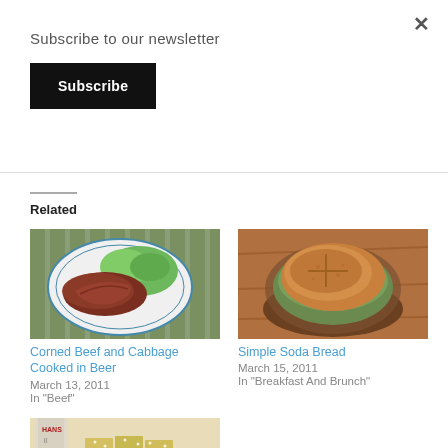×
Subscribe to our newsletter
Subscribe
Related
[Figure (photo): Corned beef slices and green cabbage on a white plate with striped background]
Corned Beef and Cabbage Cooked in Beer
March 13, 2011
In "Beef"
[Figure (photo): Round loaf of soda bread in a wicker basket lined with green cloth]
Simple Soda Bread
March 15, 2011
In "Breakfast And Brunch"
[Figure (photo): Powdered sugar-dusted lemon bar squares on a white plate with a bottle in background]